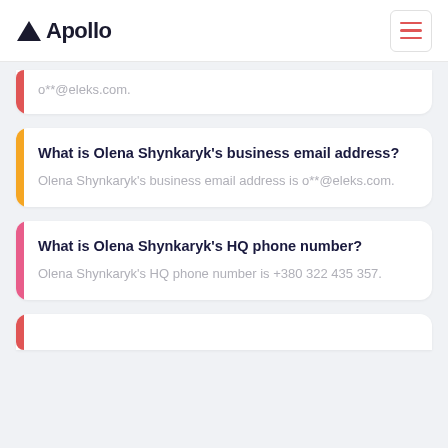Apollo
o**@eleks.com.
What is Olena Shynkaryk's business email address?
Olena Shynkaryk's business email address is o**@eleks.com.
What is Olena Shynkaryk's HQ phone number?
Olena Shynkaryk's HQ phone number is +380 322 435 357.